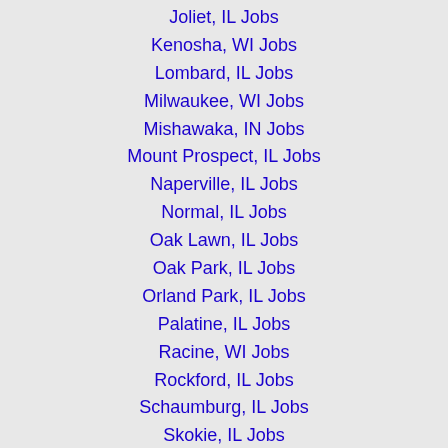Joliet, IL Jobs
Kenosha, WI Jobs
Lombard, IL Jobs
Milwaukee, WI Jobs
Mishawaka, IN Jobs
Mount Prospect, IL Jobs
Naperville, IL Jobs
Normal, IL Jobs
Oak Lawn, IL Jobs
Oak Park, IL Jobs
Orland Park, IL Jobs
Palatine, IL Jobs
Racine, WI Jobs
Rockford, IL Jobs
Schaumburg, IL Jobs
Skokie, IL Jobs
South Bend, IN Jobs
Tinley Park, IL Jobs